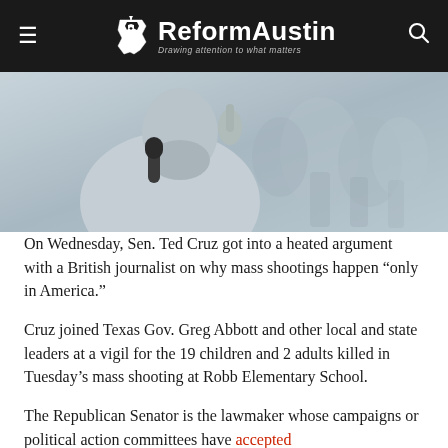ReformAustin — Drawing attention to what matters
[Figure (photo): Photo of a bearded man at a microphone, raising a finger, with people in background]
On Wednesday, Sen. Ted Cruz got into a heated argument with a British journalist on why mass shootings happen “only in America.”
Cruz joined Texas Gov. Greg Abbott and other local and state leaders at a vigil for the 19 children and 2 adults killed in Tuesday’s mass shooting at Robb Elementary School.
The Republican Senator is the lawmaker whose campaigns or political action committees have accepted